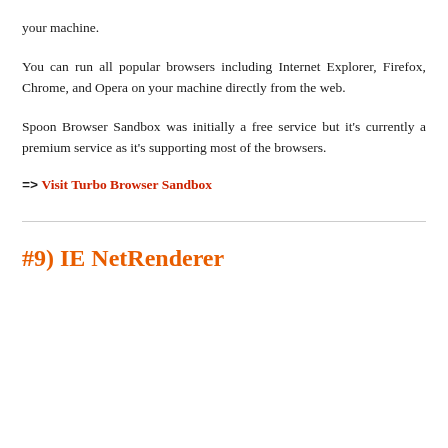your machine.
You can run all popular browsers including Internet Explorer, Firefox, Chrome, and Opera on your machine directly from the web.
Spoon Browser Sandbox was initially a free service but it's currently a premium service as it's supporting most of the browsers.
=> Visit Turbo Browser Sandbox
#9) IE NetRenderer